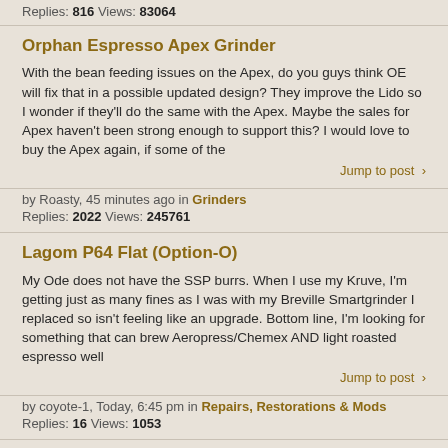Replies: 816 Views: 83064
Orphan Espresso Apex Grinder
With the bean feeding issues on the Apex, do you guys think OE will fix that in a possible updated design? They improve the Lido so I wonder if they'll do the same with the Apex. Maybe the sales for Apex haven't been strong enough to support this? I would love to buy the Apex again, if some of the
Jump to post ›
by Roasty, 45 minutes ago in Grinders
Replies: 2022 Views: 245761
Lagom P64 Flat (Option-O)
My Ode does not have the SSP burrs. When I use my Kruve, I'm getting just as many fines as I was with my Breville Smartgrinder I replaced so isn't feeling like an upgrade. Bottom line, I'm looking for something that can brew Aeropress/Chemex AND light roasted espresso well
Jump to post ›
by coyote-1, Today, 6:45 pm in Repairs, Restorations & Mods
Replies: 16 Views: 1053
Urbanic 070s Alignment & Stepless
It's done. Knew I had saved those old 3.5" floppy disks for something